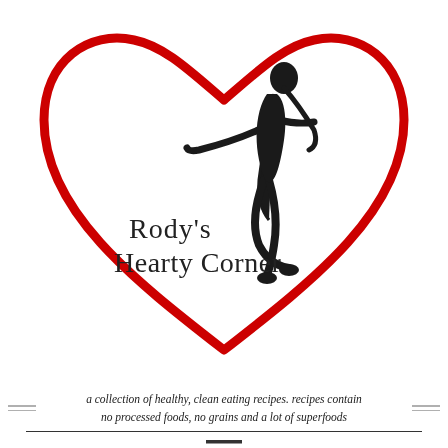[Figure (logo): Rody's Hearty Corner logo: red heart outline with silhouette of a dancer/gymnast jumping, with text 'Rody's Hearty Corner' in serif font]
a collection of healthy, clean eating recipes. recipes contain no processed foods, no grains and a lot of superfoods
[Figure (other): Hamburger menu icon (three horizontal lines)]
Privacy & Cookies: This site uses cookies. By continuing to use this website, you agree to their use.
To find out more, including how to control cookies, see here: Healthy Cookie Policy
TAG ARCHIVES:
[Figure (photo): Photo of assorted donuts on a wire grid rack, partially visible]
Close and accept